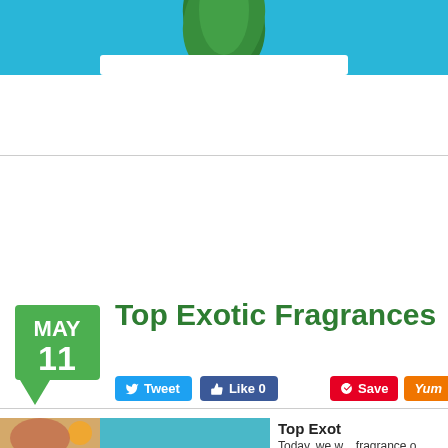[Figure (photo): Top banner showing tropical plant/leaf imagery with teal/sky blue background and green leaf]
[Figure (photo): Woman sitting by a pool with tropical fruits including pineapple, papaya, dragon fruit, and white flower]
Top Exotic Fragrances
MAY 11
Tweet   Like 0   Save   Yum
Top Exot
Today, we w... fragrance o... candle mak... fabulous fra...